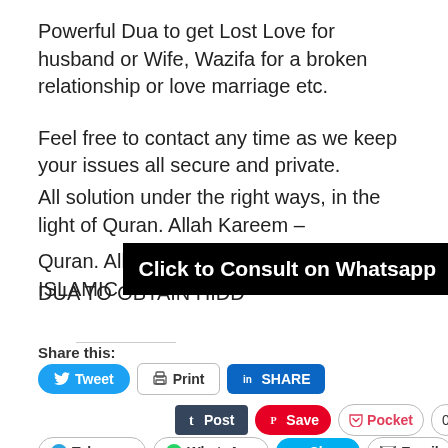Powerful Dua to get Lost Love for husband or Wife, Wazifa for a broken relationship or love marriage etc.
Feel free to contact any time as we keep your issues all secure and private.
All solution under the right ways, in the light of Quran. Allah Kareem – like POWERFUL ISLAMIC DUA TO OBTAIN HIDD
[Figure (other): Black banner overlay reading 'Click to Consult on Whatsapp']
Share this:
[Figure (other): Social sharing buttons: Tweet, Print, SHARE (LinkedIn), Post (Tumblr), Save (Pinterest), Pocket 0, Telegram, WhatsApp, Share (Skype), Email, Like button and user avatars]